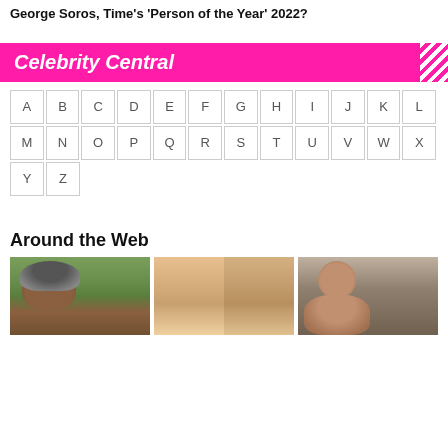George Soros, Time's 'Person of the Year' 2022?
Celebrity Central
A B C D E F G H I J K L M N O P Q R S T U V W X Y Z
Around the Web
[Figure (photo): Three images side by side: a hedgehog among flowers, two blonde women side by side, a muscular tattooed man]
Thumbnail images for 'Around the Web' content